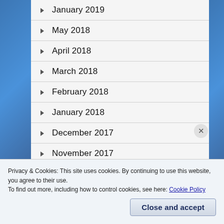January 2019
May 2018
April 2018
March 2018
February 2018
January 2018
December 2017
November 2017
Privacy & Cookies: This site uses cookies. By continuing to use this website, you agree to their use.
To find out more, including how to control cookies, see here: Cookie Policy